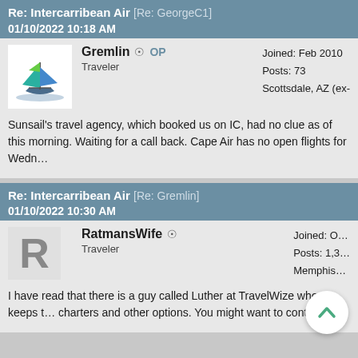Re: Intercarribean Air [Re: GeorgeC1]
01/10/2022 10:18 AM
Gremlin OP
Traveler
Joined: Feb 2010
Posts: 73
Scottsdale, AZ (ex-
Sunsail's travel agency, which booked us on IC, had no clue as of this morning. Waiting for a call back. Cape Air has no open flights for Wedn…
Re: Intercarribean Air [Re: Gremlin]
01/10/2022 10:30 AM
RatmansWife ○
Traveler
Joined: O…
Posts: 1,3…
Memphis…
I have read that there is a guy called Luther at TravelWize who keeps t… charters and other options. You might want to contact him.